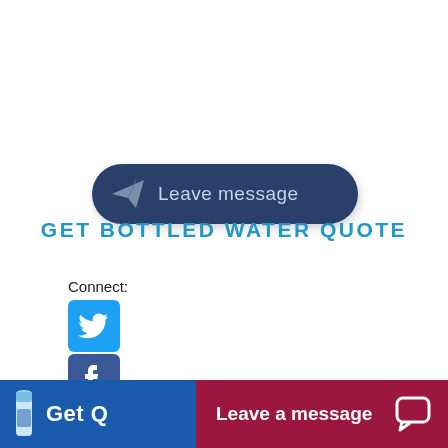[Figure (other): Dark navy blue rounded button with a paper airplane icon and text 'Leave message']
GET BOTTLED WATER QUOTE
Connect:
[Figure (other): Twitter bird icon (blue square)]
[Figure (other): Facebook f icon (blue square)]
[Figure (other): Instagram camera icon (black circle outline)]
[Figure (other): YouTube logo (white/red square)]
[Figure (other): Bottom banner: blue section with water bottle and 'Get Q...', red section with 'Leave a message' and chat icon]